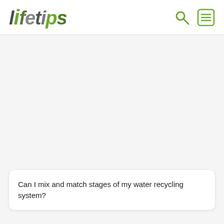lifetips
Can I mix and match stages of my water recycling system?
Can I Mix And Match